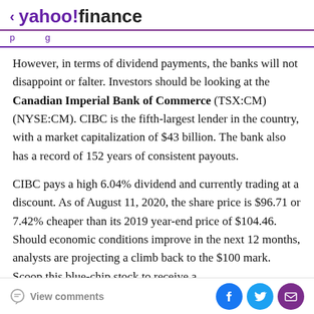< yahoo!finance
However, in terms of dividend payments, the banks will not disappoint or falter. Investors should be looking at the Canadian Imperial Bank of Commerce (TSX:CM) (NYSE:CM). CIBC is the fifth-largest lender in the country, with a market capitalization of $43 billion. The bank also has a record of 152 years of consistent payouts.
CIBC pays a high 6.04% dividend and currently trading at a discount. As of August 11, 2020, the share price is $96.71 or 7.42% cheaper than its 2019 year-end price of $104.46. Should economic conditions improve in the next 12 months, analysts are projecting a climb back to the $100 mark. Scoop this blue-chip stock to receive a
View comments